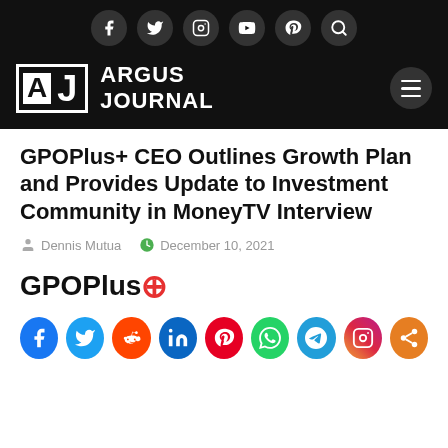[Figure (screenshot): Argus Journal website header with social media icons (Facebook, Twitter, Instagram, YouTube, Pinterest, Search) on dark background, logo with A J letters and ARGUS JOURNAL text, hamburger menu]
GPOPlus+ CEO Outlines Growth Plan and Provides Update to Investment Community in MoneyTV Interview
Dennis Mutua   December 10, 2021
[Figure (logo): GPOPlus+ logo with red plus icon]
[Figure (infographic): Social share icons row: Facebook, Twitter, Reddit, LinkedIn, Pinterest, WhatsApp, Telegram, Instagram, Share]